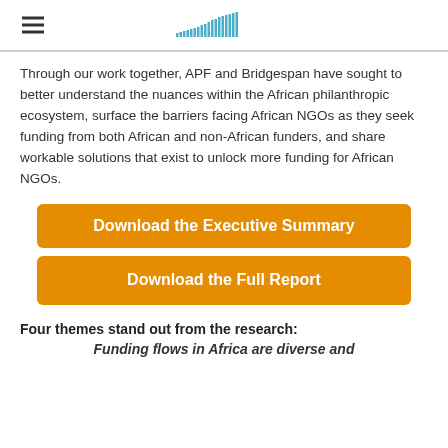The Bridgespan Group
Through our work together, APF and Bridgespan have sought to better understand the nuances within the African philanthropic ecosystem, surface the barriers facing African NGOs as they seek funding from both African and non-African funders, and share workable solutions that exist to unlock more funding for African NGOs.
Download the Executive Summary
Download the Full Report
Four themes stand out from the research:
Funding flows in Africa are diverse and